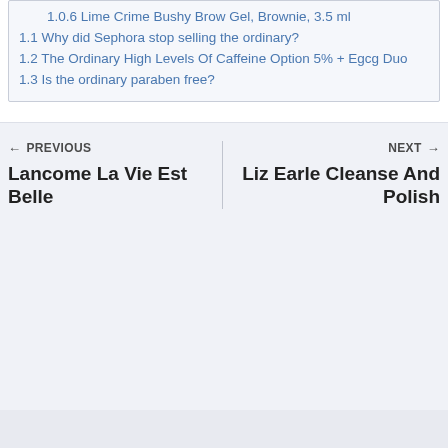1.0.6 Lime Crime Bushy Brow Gel, Brownie, 3.5 ml
1.1 Why did Sephora stop selling the ordinary?
1.2 The Ordinary High Levels Of Caffeine Option 5% + Egcg Duo
1.3 Is the ordinary paraben free?
← PREVIOUS
Lancome La Vie Est Belle
NEXT →
Liz Earle Cleanse And Polish